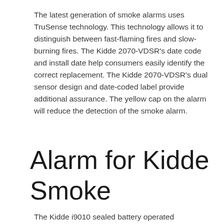The latest generation of smoke alarms uses TruSense technology. This technology allows it to distinguish between fast-flaming fires and slow-burning fires. The Kidde 2070-VDSR's date code and install date help consumers easily identify the correct replacement. The Kidde 2070-VDSR's dual sensor design and date-coded label provide additional assurance. The yellow cap on the alarm will reduce the detection of the smoke alarm.
Alarm for Kidde Smoke
The Kidde i9010 sealed battery operated